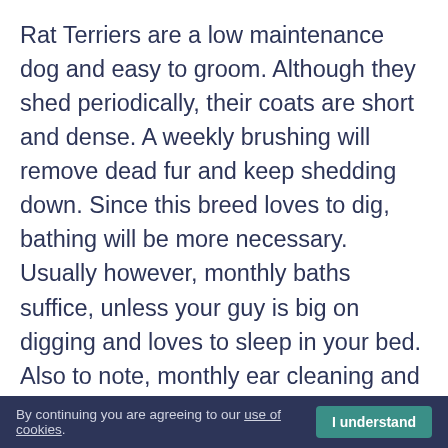Rat Terriers are a low maintenance dog and easy to groom. Although they shed periodically, their coats are short and dense. A weekly brushing will remove dead fur and keep shedding down. Since this breed loves to dig, bathing will be more necessary. Usually however, monthly baths suffice, unless your guy is big on digging and loves to sleep in your bed. Also to note, monthly ear cleaning and nail clipping is necessary, with a regular teeth brushing too. Additionally, this breed is an easy going, loyal, loving and fun companion for most everyone. Ultimately, they are an overall
By continuing you are agreeing to our use of cookies.